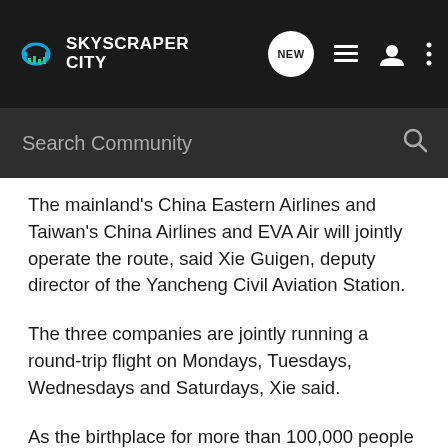[Figure (screenshot): SkyscraperCity website top navigation bar with logo, NEW chat bubble, list icon, user icon, and three-dot menu icon on dark background]
[Figure (screenshot): Search Community input bar with magnifying glass icon on dark grey background]
The mainland's China Eastern Airlines and Taiwan's China Airlines and EVA Air will jointly operate the route, said Xie Guigen, deputy director of the Yancheng Civil Aviation Station.
The three companies are jointly running a round-trip flight on Mondays, Tuesdays, Wednesdays and Saturdays, Xie said.
As the birthplace for more than 100,000 people in Taiwan, Yancheng has a close link with the island.
Meanwhile, an increasing number of Taiwan business people are coming to Yancheng for investment.
Local government statistics show that Yancheng has 641 Taiwan-funded businesses with a total investment of 2.66 billion